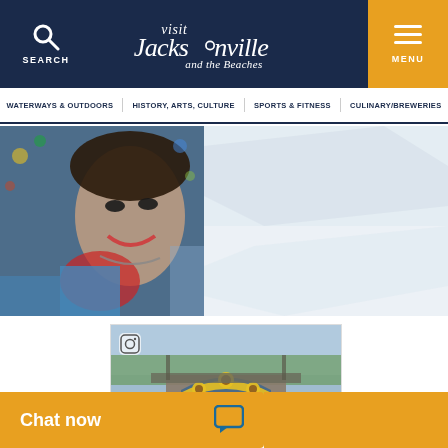Visit Jacksonville and the Beaches - SEARCH | MENU
WATERWAYS & OUTDOORS | HISTORY, ARTS, CULTURE | SPORTS & FITNESS | CULINARY/BREWERIES
[Figure (photo): Close-up mural of a woman's face with colorful mosaic style art]
[Figure (photo): Faded light blue/grey background panel]
[Figure (photo): Instagram photo of a bridge with a sunflower mural arch over a waterway with green grass]
Chat now